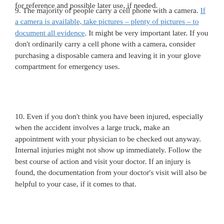for reference and possible later use, if needed.
9. The majority of people carry a cell phone with a camera. If a camera is available, take pictures – plenty of pictures – to document all evidence. It might be very important later. If you don't ordinarily carry a cell phone with a camera, consider purchasing a disposable camera and leaving it in your glove compartment for emergency uses.
10. Even if you don't think you have been injured, especially when the accident involves a large truck, make an appointment with your physician to be checked out anyway. Internal injuries might not show up immediately. Follow the best course of action and visit your doctor. If an injury is found, the documentation from your doctor's visit will also be helpful to your case, if it comes to that.